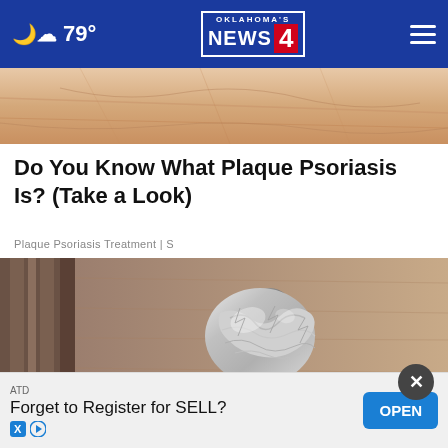79° | Oklahoma's News 4
[Figure (photo): Close-up of human skin showing texture, partial view, pinkish-tan tones]
Do You Know What Plaque Psoriasis Is? (Take a Look)
Plaque Psoriasis Treatment | S
[Figure (photo): A door knob wrapped in crumpled aluminum foil, on a light brown wooden door]
ATD
Forget to Register for SELL?
OPEN